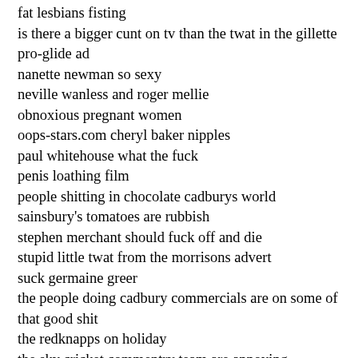fat lesbians fisting
is there a bigger cunt on tv than the twat in the gillette pro-glide ad
nanette newman so sexy
neville wanless and roger mellie
obnoxious pregnant women
oops-stars.com cheryl baker nipples
paul whitehouse what the fuck
penis loathing film
people shitting in chocolate cadburys world
sainsbury's tomatoes are rubbish
stephen merchant should fuck off and die
stupid little twat from the morrisons advert
suck germaine greer
the people doing cadbury commercials are on some of that good shit
the redknapps on holiday
the sky cricket commentry team are annoying
ugly people in tesco